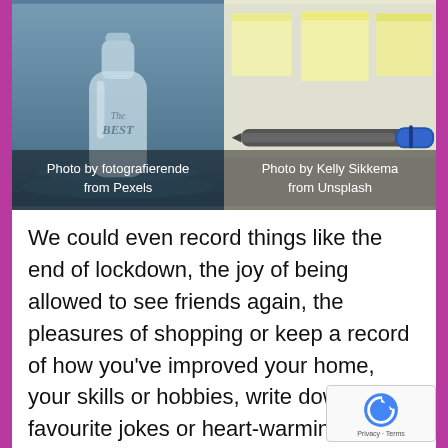[Figure (photo): Photo of a glass bottle labelled 'The BEST' against a blue-gray water background, with caption 'Photo by fotografierende from Pexels']
[Figure (photo): Photo of three yellow sticky notes on a white surface with a blue marker pen, with caption 'Photo by Kelly Sikkema from Unsplash']
We could even record things like the end of lockdown, the joy of being allowed to see friends again, the pleasures of shopping or keep a record of how you've improved your home, your skills or hobbies, write down your favourite jokes or heart-warming moments when you felt moved or perhaps record an pleasant walk in nature with a picture beautiful sunset, a home-cooked meal that you enjoyed, a time when you laughed until your tummy